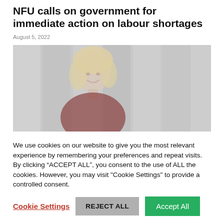NFU calls on government for immediate action on labour shortages
August 5, 2022
[Figure (photo): A woman with blonde hair smiling, photographed outdoors against a light architectural background.]
We use cookies on our website to give you the most relevant experience by remembering your preferences and repeat visits. By clicking “ACCEPT ALL”, you consent to the use of ALL the cookies. However, you may visit "Cookie Settings" to provide a controlled consent.
Cookie Settings | REJECT ALL | Accept All